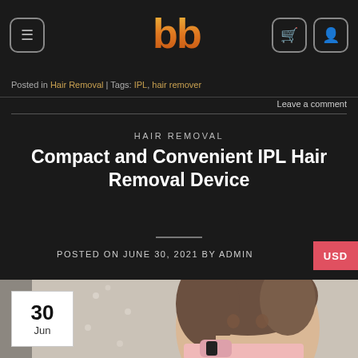bb logo navigation header
Posted in Hair Removal | Tags: IPL, hair remover
Leave a comment
HAIR REMOVAL
Compact and Convenient IPL Hair Removal Device
POSTED ON JUNE 30, 2021 BY ADMIN
[Figure (photo): Young Asian woman holding a pink IPL hair removal device, with soft quilted background. Date badge overlay showing 30 Jun.]